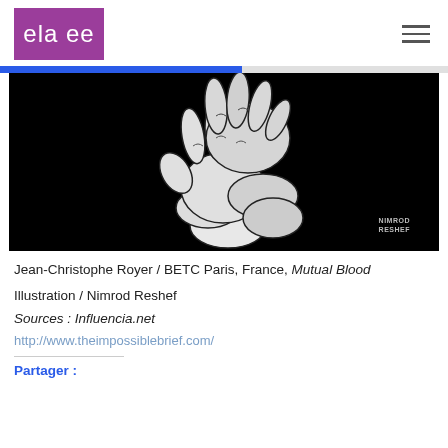ela ee
[Figure (illustration): Black and white illustration of two hands clasped together, holding hands, on a black background. Watermark reads 'NIMROD RESHEF' in the bottom right corner.]
Jean-Christophe Royer / BETC Paris, France, Mutual Blood
Illustration / Nimrod Reshef
Sources : Influencia.net
http://www.theimpossiblebrief.com/
Partager :